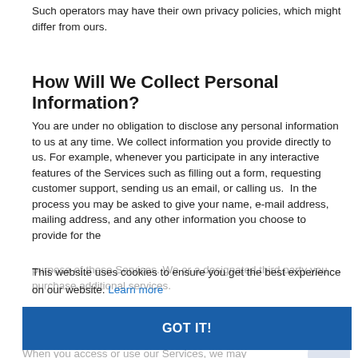Such operators may have their own privacy policies, which might differ from ours.
How Will We Collect Personal Information?
You are under no obligation to disclose any personal information to us at any time. We collect information you provide directly to us. For example, whenever you participate in any interactive features of the Services such as filling out a form, requesting customer support, sending us an email, or calling us.  In the process you may be asked to give your name, e-mail address, mailing address, and any other information you choose to provide for the purpose of these Services. We or a designated third party you purchase additional services.
This website uses cookies to ensure you get the best experience on our website. Learn more
GOT IT!
Information We Collect Automatically When You Use Our Services
When you access or use our Services, we may